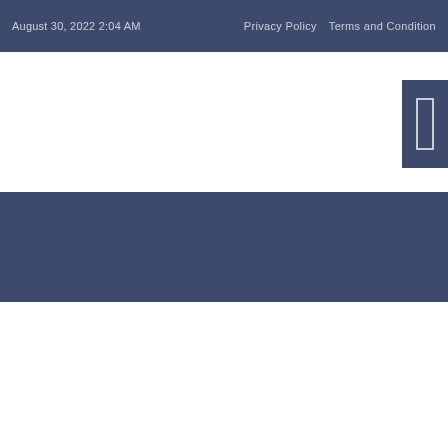August 30, 2022 2:04 AM    Privacy Policy    Terms and Condition
[Figure (screenshot): Navigation menu toggle button (hamburger/rectangle icon) on right side of white area above dark band]
[Figure (screenshot): Dark navy blue horizontal band spanning full width of page]